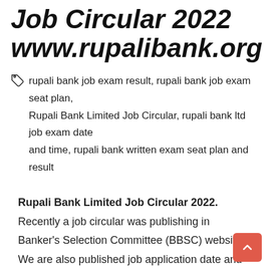Job Circular 2022 www.rupalibank.org
rupali bank job exam result, rupali bank job exam seat plan, Rupali Bank Limited Job Circular, rupali bank ltd job exam date and time, rupali bank written exam seat plan and result
Rupali Bank Limited Job Circular 2022. Recently a job circular was publishing in Banker's Selection Committee (BBSC) website. We are also published job application date and time. Job exam date and time, Job exam seat plan, job exam preliminary and MCQ exam result. Rupali Bank Written exam seat plan and result. You can also download your